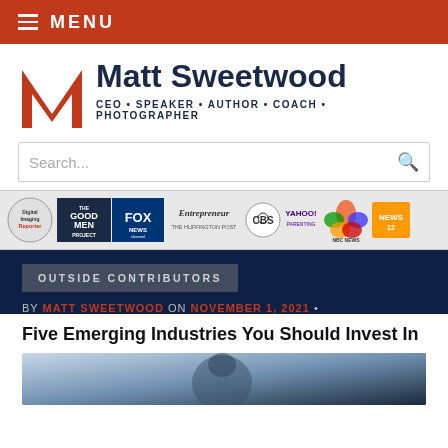MENU
[Figure (logo): Matt Sweetwood logo with stylized M and text: Matt Sweetwood CEO • SPEAKER • AUTHOR • COACH • PHOTOGRAPHER]
Search...
[Figure (infographic): Media logos strip: Digital Imaging Reporter, The Good Men Project, Fox News Channel, Entrepreneur The Huffington Post, CBS, Yahoo Parenting, NBC News, News 12]
OUTSIDE CONTRIBUTORS
BY MATT SWEETWOOD ON NOVEMBER 1, 2021 •
Five Emerging Industries You Should Invest In
[Figure (photo): Blurred photo of a person in a suit, partially visible at bottom of page]